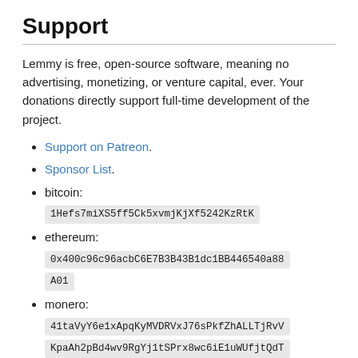Support
Lemmy is free, open-source software, meaning no advertising, monetizing, or venture capital, ever. Your donations directly support full-time development of the project.
Support on Patreon.
Sponsor List.
bitcoin:
1Hefs7miXS5ff5Ck5xvmjKjXf5242KzRtK
ethereum:
0x400c96c96acbC6E7B3B43B1dc1BB446540a88A01
monero:
41taVyY6e1xApqKyMVDRVxJ76sPkfZhALLTjRvVKpaAh2pBd4wv9RgYj1tSPrx8wc6iE1uWUfjtQdT